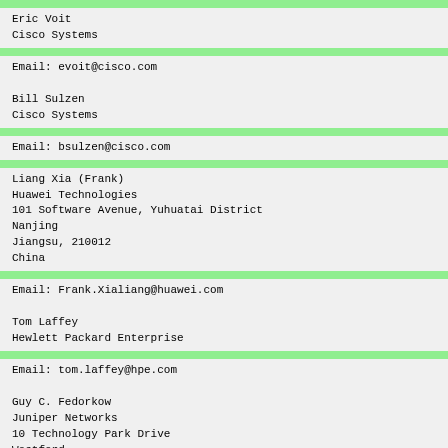Eric Voit
Cisco Systems
Email: evoit@cisco.com

Bill Sulzen
Cisco Systems
Email: bsulzen@cisco.com
Liang Xia (Frank)
Huawei Technologies
101 Software Avenue, Yuhuatai District
Nanjing
Jiangsu, 210012
China
Email: Frank.Xialiang@huawei.com

Tom Laffey
Hewlett Packard Enterprise
Email: tom.laffey@hpe.com

Guy C. Fedorkow
Juniper Networks
10 Technology Park Drive
Westford
Email: gfedorkow@juniper.net
Enc
330 lines changed or deleted
This html diff was produced by rfcdi